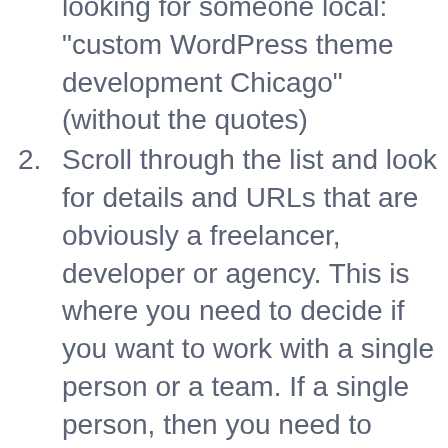looking for someone local: “custom WordPress theme development Chicago” (without the quotes)
2. Scroll through the list and look for details and URLs that are obviously a freelancer, developer or agency. This is where you need to decide if you want to work with a single person or a team. If a single person, then you need to decide if you want to work with a designer that also codes or a developer that also designs (if you are designing the site and asking them to code it, then I would look for a developer, or a developer that also designs.) If you are looking for a team (of two or more people), then look for results that read more like an agency.
3. Now that you have clicked on a link, let's start looking for indicators of a good fit. First, look for